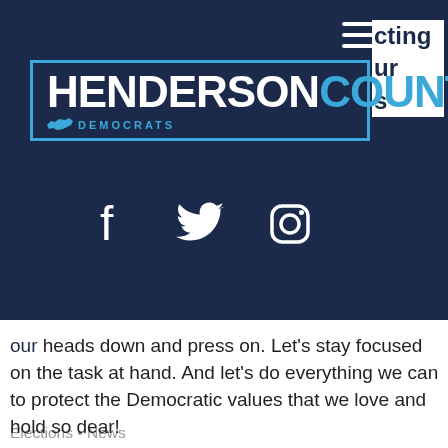[Figure (logo): Henderson County Democrats logo with navigation overlay showing hamburger menu, social media icons (Facebook, Twitter, Instagram), and partially visible text 'ting', 'ur', 's' on right side]
heads down and press on. Let's stay focused on the task at hand. And let's do everything we can to protect the Democratic values that we love and hold so dear!
Thank you for all that each of you do and keep fighting!
Matt Ballance
NC District 11 Chair
Elections • News